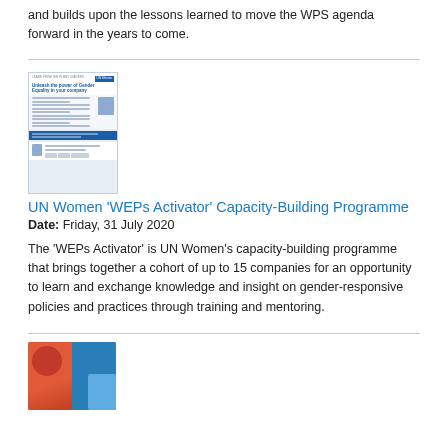and builds upon the lessons learned to move the WPS agenda forward in the years to come.
[Figure (illustration): Thumbnail image of a document page related to Gender Equality in company, with blue header, text columns, a speaker photo, blue banner section, and footer with logos.]
UN Women 'WEPs Activator' Capacity-Building Programme
Date: Friday, 31 July 2020
The 'WEPs Activator' is UN Women's capacity-building programme that brings together a cohort of up to 15 companies for an opportunity to learn and exchange knowledge and insight on gender-responsive policies and practices through training and mentoring.
[Figure (illustration): Thumbnail image showing a colorful document cover with red/orange and blue sections, a red circle graphic, and a human figure silhouette.]